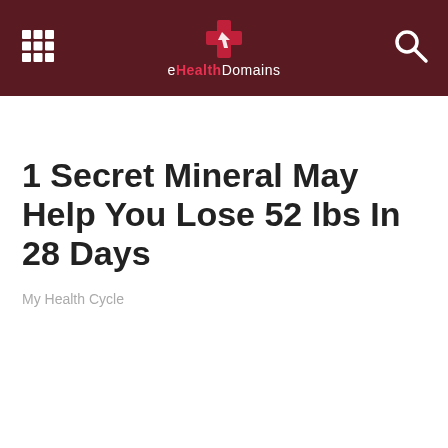eHealthDomains
1 Secret Mineral May Help You Lose 52 lbs In 28 Days
My Health Cycle